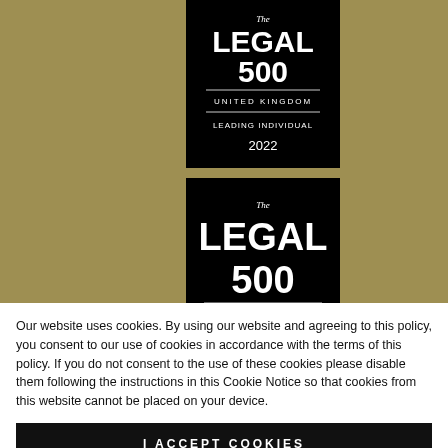[Figure (logo): Legal 500 United Kingdom Leading Individual 2022 badge (black background)]
[Figure (logo): Legal 500 United Kingdom Next Generation Partner 2022 badge (black background)]
[Figure (logo): Top Ranked Chambers UK 2022 badge (white background with teal laurel wreath)]
Our website uses cookies. By using our website and agreeing to this policy, you consent to our use of cookies in accordance with the terms of this policy. If you do not consent to the use of these cookies please disable them following the instructions in this Cookie Notice so that cookies from this website cannot be placed on your device.
I ACCEPT COOKIES